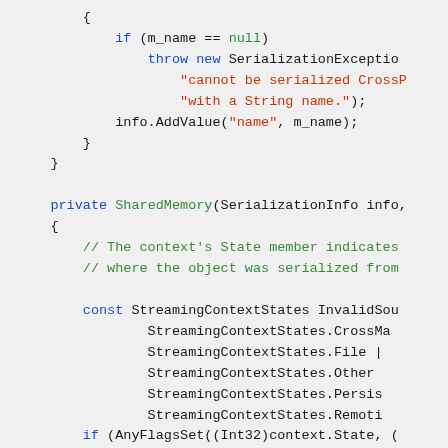[Figure (screenshot): Source code snippet in C# showing serialization/deserialization logic with syntax highlighting: blue keywords, green comments and null keyword, red string literals.]